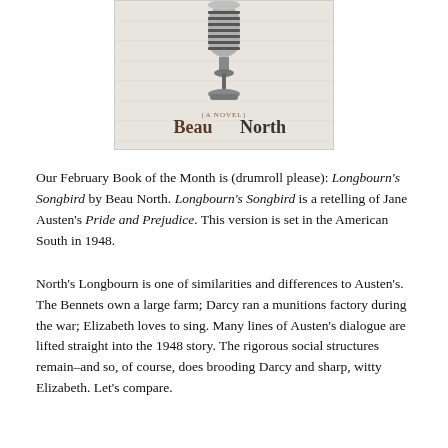[Figure (illustration): Book cover of 'Beau North – A Novel' featuring a vintage microphone on a light background with the author/title text in brown serif font.]
Our February Book of the Month is (drumroll please): Longbourn's Songbird by Beau North. Longbourn's Songbird is a retelling of Jane Austen's Pride and Prejudice. This version is set in the American South in 1948.
North's Longbourn is one of similarities and differences to Austen's. The Bennets own a large farm; Darcy ran a munitions factory during the war; Elizabeth loves to sing. Many lines of Austen's dialogue are lifted straight into the 1948 story. The rigorous social structures remain–and so, of course, does brooding Darcy and sharp, witty Elizabeth. Let's compare.